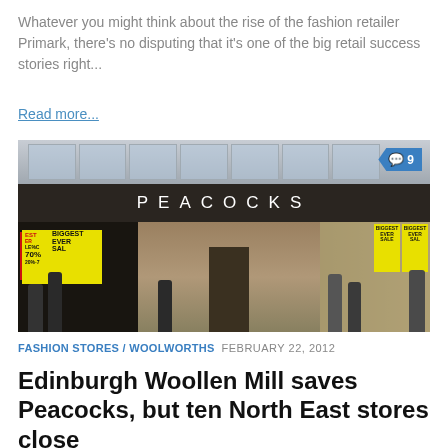Whatever you might think about the rise of the fashion retailer Primark, there's no disputing that it's one of the big retail success stories right...
Read more...
[Figure (photo): Exterior photo of a Peacocks fashion store front showing the large black fascia with 'PEACOCKS' lettering, 'Biggest Ever Sale' yellow signs in the windows, and shoppers outside.]
FASHION STORES / WOOLWORTHS  FEBRUARY 22, 2012
Edinburgh Woollen Mill saves Peacocks, but ten North East stores close